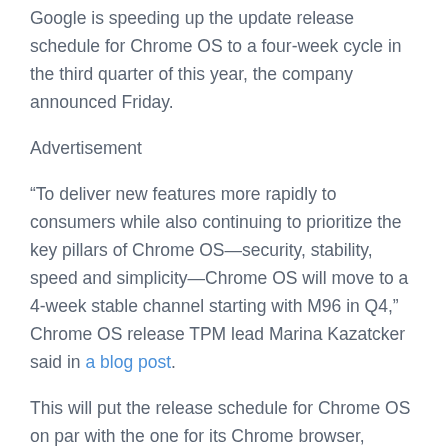Google is speeding up the update release schedule for Chrome OS to a four-week cycle in the third quarter of this year, the company announced Friday.
Advertisement
“To deliver new features more rapidly to consumers while also continuing to prioritize the key pillars of Chrome OS—security, stability, speed and simplicity—Chrome OS will move to a 4-week stable channel starting with M96 in Q4,” Chrome OS release TPM lead Marina Kazatcker said in a blog post.
This will put the release schedule for Chrome OS on par with the one for its Chrome browser,